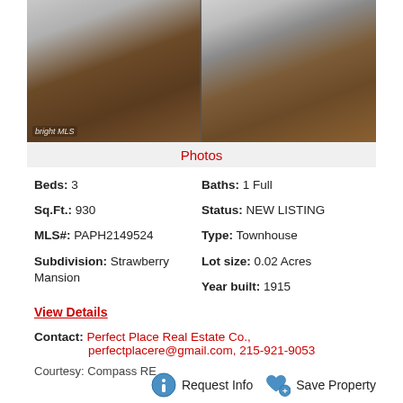[Figure (photo): Interior photo of a room with hardwood floors and gray walls, split into two panels showing different angles of the space.]
Photos
Beds: 3
Sq.Ft.: 930
MLS#: PAPH2149524
Subdivision: Strawberry Mansion
Baths: 1 Full
Status: NEW LISTING
Type: Townhouse
Lot size: 0.02 Acres
Year built: 1915
View Details
Contact: Perfect Place Real Estate Co., perfectplacere@gmail.com, 215-921-9053
Courtesy: Compass RE
Request Info  Save Property